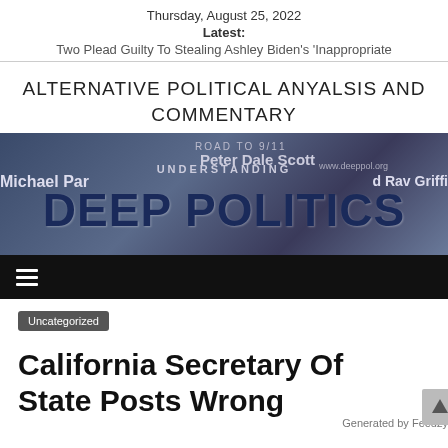Thursday, August 25, 2022
Latest:
Two Plead Guilty To Stealing Ashley Biden's 'Inappropriate
ALTERNATIVE POLITICAL ANYALSIS AND COMMENTARY
[Figure (logo): Understanding Deep Politics banner with text 'UNDERSTANDING DEEP POLITICS' and names Michael Par[enti], Peter Dale Scott, Ray Griff[in], website www.deeppol.org, Road to 9/11]
☰ (navigation menu icon)
Uncategorized
California Secretary Of State Posts Wrong